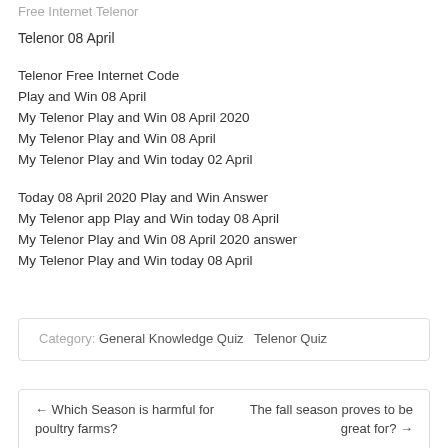Free Internet Telenor
Telenor 08 April
Telenor Free Internet Code
Play and Win 08 April
My Telenor Play and Win 08 April 2020
My Telenor Play and Win 08 April
My Telenor Play and Win today 02 April
Today 08 April 2020 Play and Win Answer
My Telenor app Play and Win today 08 April
My Telenor Play and Win 08 April 2020 answer
My Telenor Play and Win today 08 April
Category: General Knowledge Quiz  Telenor Quiz
← Which Season is harmful for poultry farms?
The fall season proves to be great for? →